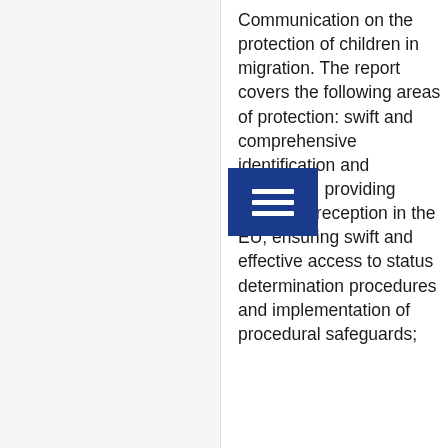Communication on the protection of children in migration. The report covers the following areas of protection: swift and comprehensive identification and protection; providing adequate reception in the EU; ensuring swift and effective access to status determination procedures and implementation of procedural safeguards;